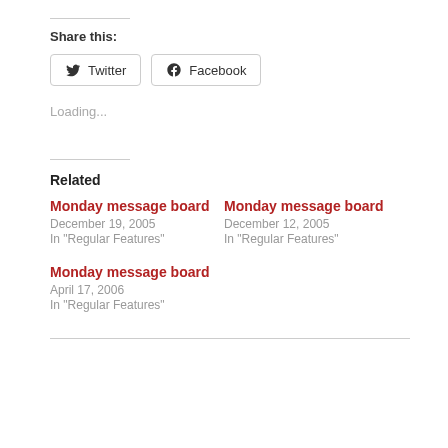Share this:
Twitter   Facebook
Loading...
Related
Monday message board
December 19, 2005
In "Regular Features"
Monday message board
December 12, 2005
In "Regular Features"
Monday message board
April 17, 2006
In "Regular Features"